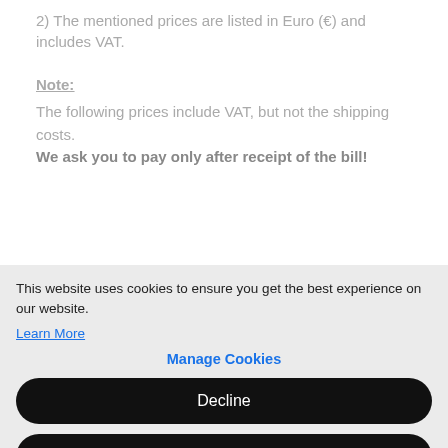2) The mentioned prices are listed in Euro (€) and includes VAT.
Note:
The following prices include VAT, but not the shipping costs.
We ask you to pay only after receipt of the bill!
About
Gallery
This website uses cookies to ensure you get the best experience on our website.
Learn More
Manage Cookies
Decline
Allow All
×